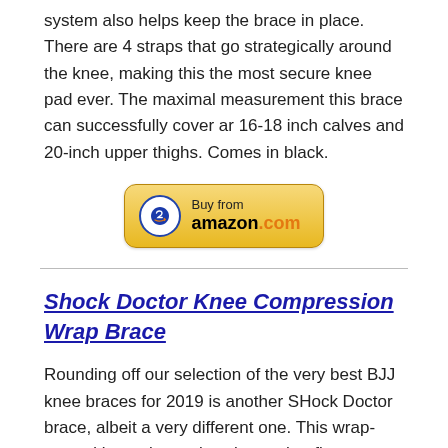system also helps keep the brace in place. There are 4 straps that go strategically around the knee, making this the most secure knee pad ever. The maximal measurement this brace can successfully cover ar 16-18 inch calves and 20-inch upper thighs. Comes in black.
[Figure (other): Amazon 'Buy from amazon.com' button with circular Amazon logo icon on gold/yellow rounded rectangle background]
Shock Doctor Knee Compression Wrap Brace
Rounding off our selection of the very best BJJ knee braces for 2019 is another SHock Doctor brace, albeit a very different one. This wrap-around brace is a unisex brace that fits on either knee and helps provide support covering a very wide range of knee ailments.